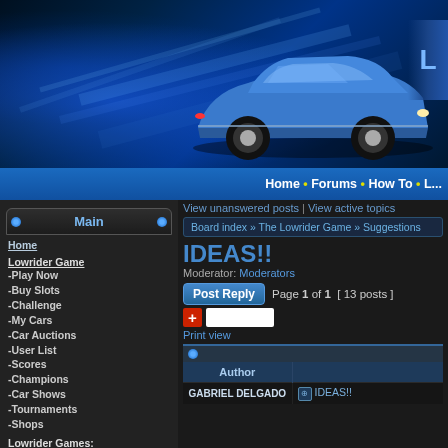[Figure (illustration): Website header banner with blue glowing background, light streaks, and a blue lowrider car on the right side against dark blue gradient background]
Home • Forums • How To • L...
Main
Home
Lowrider Game
-Play Now
-Buy Slots
-Challenge
-My Cars
-Car Auctions
-User List
-Scores
-Champions
-Car Shows
-Tournaments
-Shops
Lowrider Games:
-Monte Carlo
-Expedition
-3D 57 Chevy
-2-Player Game
-Cadillac Hopper
-Cadillac Dancer
-Cutlass Hopper
-Regal Hopper
View unanswered posts | View active topics
Board index » The Lowrider Game » Suggestions
IDEAS!!
Moderator: Moderators
Post Reply   Page 1 of 1  [ 13 posts ]
Print view
| Author |  |
| --- | --- |
| GABRIEL DELGADO | ⊕ IDEAS!! |